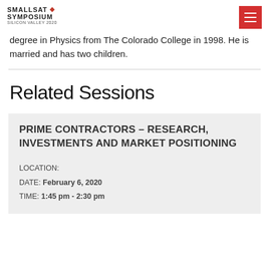SMALLSAT SYMPOSIUM SILICON VALLEY 2020
degree in Physics from The Colorado College in 1998. He is married and has two children.
Related Sessions
PRIME CONTRACTORS – RESEARCH, INVESTMENTS AND MARKET POSITIONING
LOCATION:
DATE: February 6, 2020
TIME: 1:45 pm - 2:30 pm